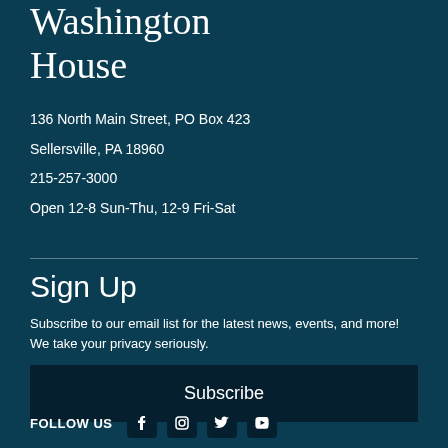Washington House
136 North Main Street, PO Box 423
Sellersville, PA 18960
215-257-3000
Open 12-8 Sun-Thu, 12-9 Fri-Sat
Sign Up
Subscribe to our email list for the latest news, events, and more! We take your privacy seriously.
Subscribe
FOLLOW US